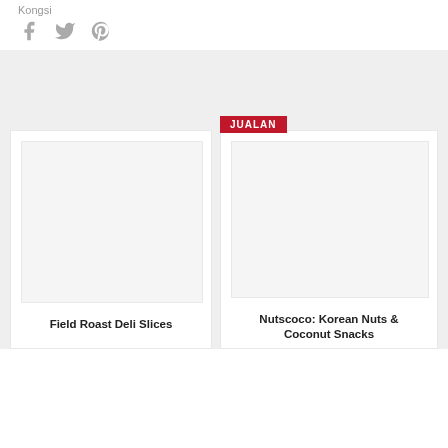Kongsi
[Figure (illustration): Social sharing icons: Facebook (f), Twitter (bird), Pinterest (P) in gray]
[Figure (photo): Gray banner placeholder area]
JUALAN
[Figure (photo): Left card image placeholder - white/light gray rectangle]
Field Roast Deli Slices
[Figure (photo): Right card image placeholder - white/light gray rectangle]
Nutscoco: Korean Nuts & Coconut Snacks